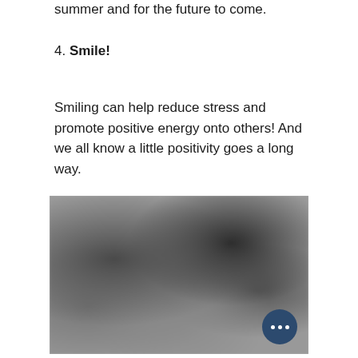summer and for the future to come.
4. Smile!
Smiling can help reduce stress and promote positive energy onto others! And we all know a little positivity goes a long way.
[Figure (photo): A blurred black and white group photo of people smiling, with a dark blue circular button with three white dots in the bottom right corner.]